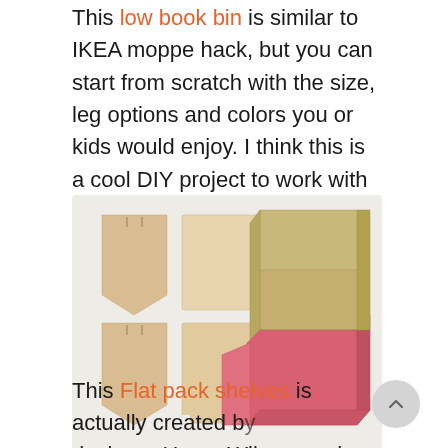This low book bin is similar to IKEA moppe hack, but you can start from scratch with the size, leg options and colors you or kids would enjoy. I think this is a cool DIY project to work with kids together.
[Figure (photo): Photo showing flat-pack wooden pieces on the left side and an assembled low book bin with beige and pink sections on the right side, against a light gray background.]
This Flat pack shelves is actually created by designer Henry Wilson, and sell for $150. It's